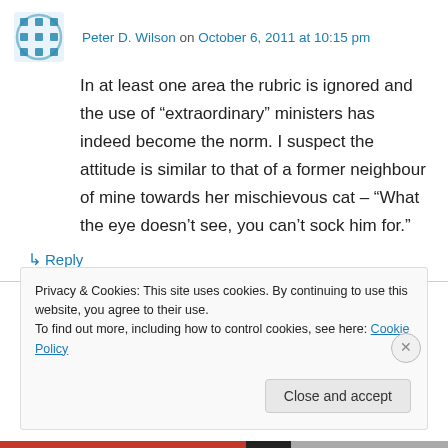Peter D. Wilson on October 6, 2011 at 10:15 pm
In at least one area the rubric is ignored and the use of “extraordinary” ministers has indeed become the norm. I suspect the attitude is similar to that of a former neighbour of mine towards her mischievous cat – “What the eye doesn’t see, you can’t sock him for.”
↳ Reply
Privacy & Cookies: This site uses cookies. By continuing to use this website, you agree to their use.
To find out more, including how to control cookies, see here: Cookie Policy
Close and accept